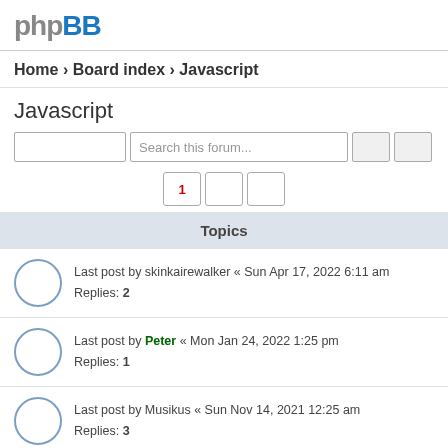phpBB
Home › Board index › Javascript
Javascript
Last post by skinkairewalker « Sun Apr 17, 2022 6:11 am
Replies: 2
Last post by Peter « Mon Jan 24, 2022 1:25 pm
Replies: 1
Last post by Musikus « Sun Nov 14, 2021 12:25 am
Replies: 3
Last post by Phil « Sun Oct 10, 2021 10:51 am
Replies: 21